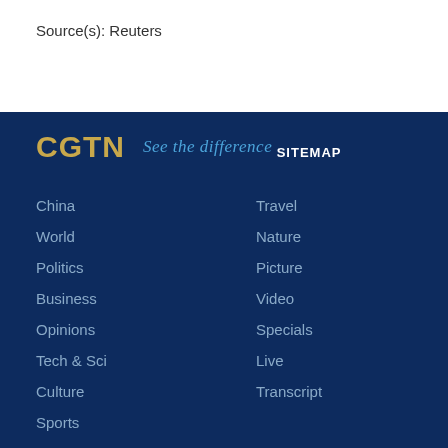Source(s): Reuters
[Figure (logo): CGTN logo with tagline 'See the difference']
SITEMAP
China
Travel
World
Nature
Politics
Picture
Business
Video
Opinions
Specials
Tech & Sci
Live
Culture
Transcript
Sports